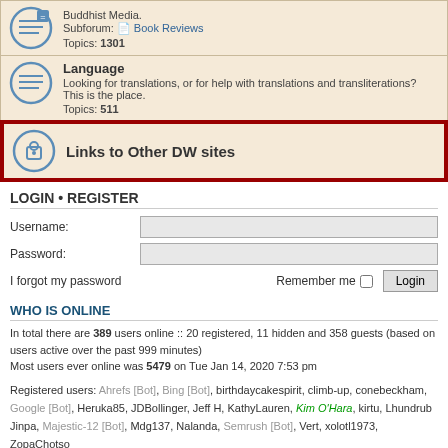Buddhist Media. Subforum: Book Reviews. Topics: 1301
Language. Looking for translations, or for help with translations and transliterations? This is the place. Topics: 511
Links to Other DW sites
LOGIN • REGISTER
Username:
Password:
I forgot my password   Remember me   Login
WHO IS ONLINE
In total there are 389 users online :: 20 registered, 11 hidden and 358 guests (based on users active over the past 999 minutes)
Most users ever online was 5479 on Tue Jan 14, 2020 7:53 pm
Registered users: Ahrefs [Bot], Bing [Bot], birthdaycakespirit, climb-up, conebeckham, Google [Bot], Heruka85, JDBollinger, Jeff H, KathyLauren, Kim O'Hara, kirtu, Lhundrub Jinpa, Majestic-12 [Bot], Mdg137, Nalanda, Semrush [Bot], Vert, xolotl1973, ZopaChotso
Legend: Administrators, Founding Members, Global moderators
STATISTICS